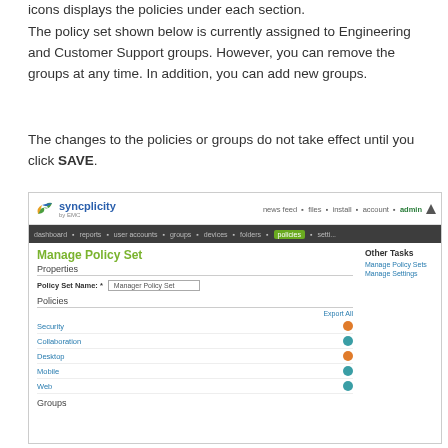icons displays the policies under each section.
The policy set shown below is currently assigned to Engineering and Customer Support groups. However, you can remove the groups at any time. In addition, you can add new groups.
The changes to the policies or groups do not take effect until you click SAVE.
[Figure (screenshot): Screenshot of Syncplicity admin interface showing 'Manage Policy Set' page with Properties section (Policy Set Name: Manager Policy Set), Policies section (Security, Collaboration, Desktop, Mobile, Web rows with expand/collapse icons), and Groups section header. Navigation bar shows dashboard, reports, user accounts, groups, devices, folders, policies, settings. Right sidebar shows 'Other Tasks' with links to Manage Policy Sets and Manage Settings.]